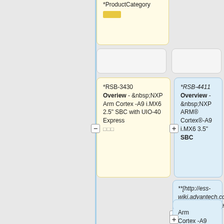[Figure (flowchart): A wiki/flowchart UI screenshot showing a navigation tree with collapsible nodes. Shows RSB-3430 Overview node (yellow, NXP Arm Cortex-A9 i.MX6 2.5" SBC with UIO-40 Express) and RSB-4411 Overview node (blue, NXP ARM® Cortex®-A9 i.MX6 3.5" SBC), plus a link node for RSB-4411 user guide and a partial RSB-3430 Overview node at the bottom.]